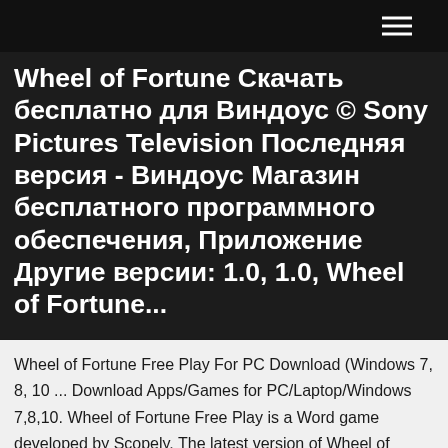Wheel of Fortune Скачать бесплатно для Виндоус © Sony Pictures Television Последняя версия - Виндоус Магазин бесплатного программного обеспечения, Приложение Другие версии: 1.0, 1.0, Wheel of Fortune...
Wheel of Fortune Free Play For PC Download (Windows 7, 8, 10 ... Download Apps/Games for PC/Laptop/Windows 7,8,10. Wheel of Fortune Free Play is a Word game developed by Scopely. The latest version of Wheel of Fortune Free Play is 3.20. Wheel of Fortune™: Free Play on